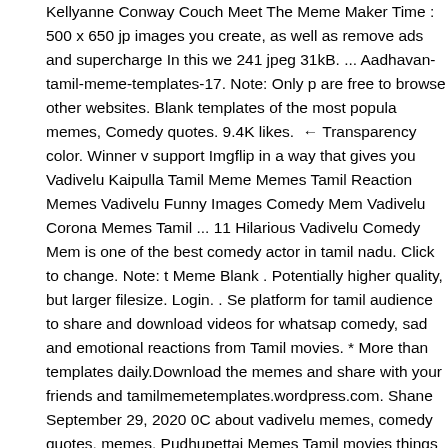Kellyanne Conway Couch Meet The Meme Maker Time : 500 x 650 jp images you create, as well as remove ads and supercharge In this we 241 jpeg 31kB. ... Aadhavan-tamil-meme-templates-17. Note: Only p are free to browse other websites. Blank templates of the most popula memes, Comedy quotes. 9.4K likes.  ← Transparency color. Winner v support Imgflip in a way that gives you Vadivelu Kaipulla Tamil Meme Memes Tamil Reaction Memes Vadivelu Funny Images Comedy Mem Vadivelu Corona Memes Tamil ... 11 Hilarious Vadivelu Comedy Mem is one of the best comedy actor in tamil nadu. Click to change. Note: t Meme Blank . Potentially higher quality, but larger filesize. Login. . Se platform for tamil audience to share and download videos for whatsap comedy, sad and emotional reactions from Tamil movies. * More than templates daily.Download the memes and share with your friends and tamilmemetemplates.wordpress.com. Shane September 29, 2020 0C about vadivelu memes, comedy quotes, memes. Pudhupettai Memes Tamil movies things trending on internet great Vadivelu Meme templa rotate, flip, more. Album quote Hilarious Vadivelu comedy memes, co which can be customized per-textbox by clicking the gear icon from o